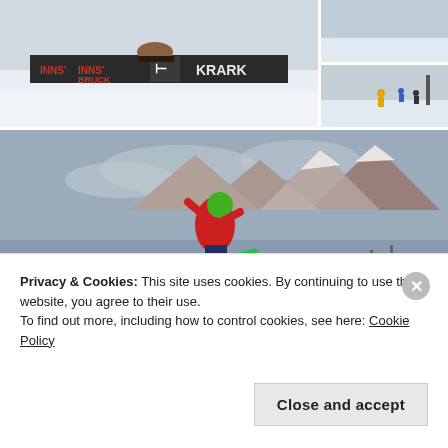[Figure (photo): Snowboarder on a rail/box in a snow park with INNSBRUCK branding, snowy terrain, 'GOT IT!' overlay icon visible]
[Figure (photo): Snowy ski slope top-right top, bright white snow]
[Figure (photo): Skiers on a snowy slope with lift, top-right bottom panel]
[Figure (photo): Snowboarder in red jacket performing a trick in a halfpipe with snowy mountains in background]
Privacy & Cookies: This site uses cookies. By continuing to use this website, you agree to their use.
To find out more, including how to control cookies, see here: Cookie Policy
Close and accept